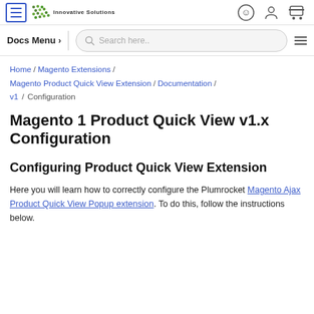Innovative Solutions — [logo/nav header with hamburger, logo, icons]
Docs Menu > | Search here... | [menu icon]
Home / Magento Extensions / Magento Product Quick View Extension / Documentation / v1 / Configuration
Magento 1 Product Quick View v1.x Configuration
Configuring Product Quick View Extension
Here you will learn how to correctly configure the Plumrocket Magento Ajax Product Quick View Popup extension. To do this, follow the instructions below.